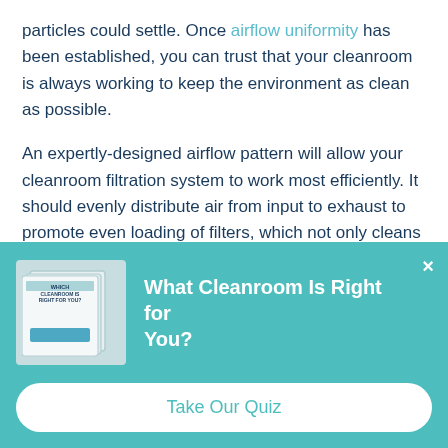particles could settle. Once airflow uniformity has been established, you can trust that your cleanroom is always working to keep the environment as clean as possible.
An expertly-designed airflow pattern will allow your cleanroom filtration system to work most efficiently. It should evenly distribute air from input to exhaust to promote even loading of filters, which not only cleans the air in your
[Figure (illustration): Small booklet/brochure image with text 'WHICH CLEANROOM IS RIGHT FOR YOU?' and a blue bar on the cover]
What Cleanroom Is Right for You?
Take Our Quiz